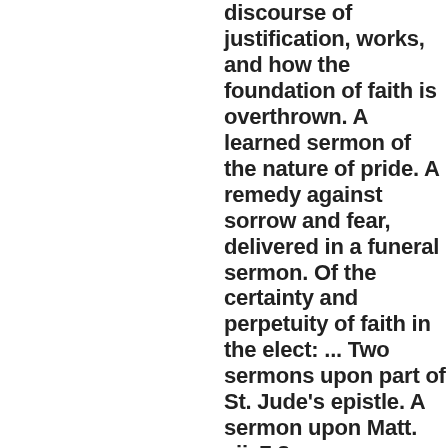discourse of justification, works, and how the foundation of faith is overthrown. A learned sermon of the nature of pride. A remedy against sorrow and fear, delivered in a funeral sermon. Of the certainty and perpetuity of faith in the elect: ... Two sermons upon part of St. Jude's epistle. A sermon upon Matt. vii. 7,8